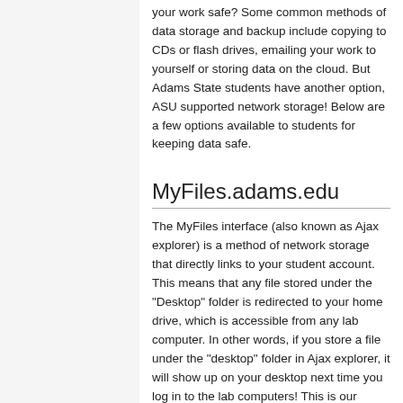your work safe? Some common methods of data storage and backup include copying to CDs or flash drives, emailing your work to yourself or storing data on the cloud. But Adams State students have another option, ASU supported network storage! Below are a few options available to students for keeping data safe.
MyFiles.adams.edu
The MyFiles interface (also known as Ajax explorer) is a method of network storage that directly links to your student account. This means that any file stored under the "Desktop" folder is redirected to your home drive, which is accessible from any lab computer. In other words, if you store a file under the "desktop" folder in Ajax explorer, it will show up on your desktop next time you log in to the lab computers! This is our recommended method of storage and backup. As a part of regular operations, student drives are backed up to a